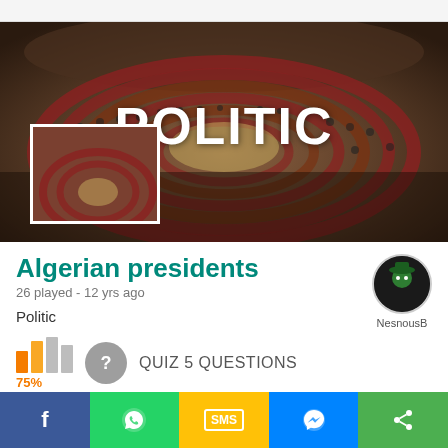[Figure (photo): Aerial/fisheye view of a parliament chamber filled with people in red-and-wood tiered semicircular seating. Large text 'POLITIC' overlaid in white bold letters. A small thumbnail box with white border in the lower left of the image.]
Algerian presidents
26 played - 12 yrs ago
Politic
[Figure (illustration): User avatar circle for NesnousB — dark background with green figure wearing hat. Username: NesnousB]
QUIZ 5 QUESTIONS
75%
f   [WhatsApp]   SMS   [Messenger]   <